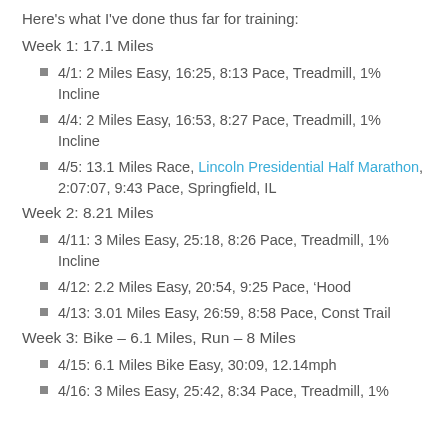Here's what I've done thus far for training:
Week 1: 17.1 Miles
4/1: 2 Miles Easy, 16:25, 8:13 Pace, Treadmill, 1% Incline
4/4: 2 Miles Easy, 16:53, 8:27 Pace, Treadmill, 1% Incline
4/5: 13.1 Miles Race, Lincoln Presidential Half Marathon, 2:07:07, 9:43 Pace, Springfield, IL
Week 2: 8.21 Miles
4/11: 3 Miles Easy, 25:18, 8:26 Pace, Treadmill, 1% Incline
4/12: 2.2 Miles Easy, 20:54, 9:25 Pace, ‘Hood
4/13: 3.01 Miles Easy, 26:59, 8:58 Pace, Const Trail
Week 3: Bike – 6.1 Miles, Run – 8 Miles
4/15: 6.1 Miles Bike Easy, 30:09, 12.14mph
4/16: 3 Miles Easy, 25:42, 8:34 Pace, Treadmill, 1%